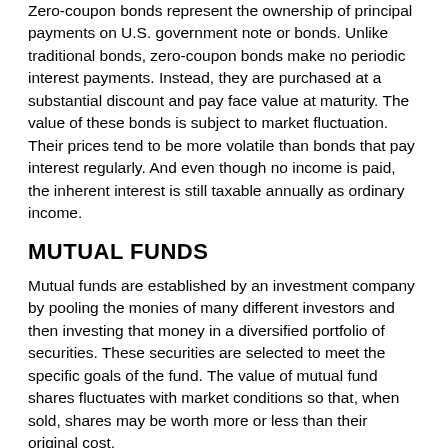Zero-coupon bonds represent the ownership of principal payments on U.S. government note or bonds. Unlike traditional bonds, zero-coupon bonds make no periodic interest payments. Instead, they are purchased at a substantial discount and pay face value at maturity. The value of these bonds is subject to market fluctuation. Their prices tend to be more volatile than bonds that pay interest regularly. And even though no income is paid, the inherent interest is still taxable annually as ordinary income.
MUTUAL FUNDS
Mutual funds are established by an investment company by pooling the monies of many different investors and then investing that money in a diversified portfolio of securities. These securities are selected to meet the specific goals of the fund. The value of mutual fund shares fluctuates with market conditions so that, when sold, shares may be worth more or less than their original cost.
Mutual funds are sold by prospectus. Please consider the investment objectives, risks, charges, and expenses